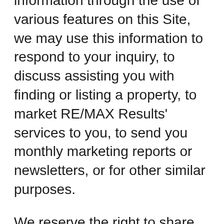information through the use of various features on this Site, we may use this information to respond to your inquiry, to discuss assisting you with finding or listing a property, to market RE/MAX Results' services to you, to send you monthly marketing reports or newsletters, or for other similar purposes.
We reserve the right to share the personal information you provide and the non-personal information we collect through your use of this Site with our affiliated companies